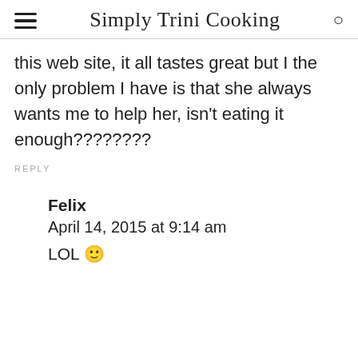Simply Trini Cooking
this web site, it all tastes great but I the only problem I have is that she always wants me to help her, isn't eating it enough????????
REPLY
Felix
April 14, 2015 at 9:14 am
LOL 😊